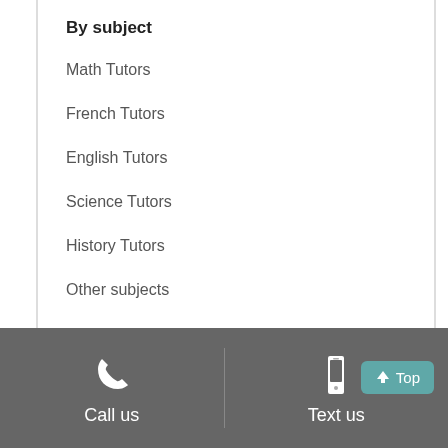By subject
Math Tutors
French Tutors
English Tutors
Science Tutors
History Tutors
Other subjects
By city
Call us   Text us